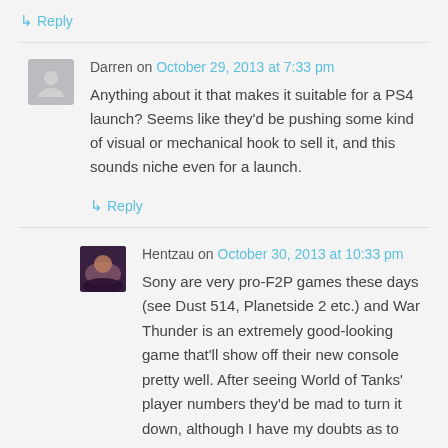↳ Reply
Darren on October 29, 2013 at 7:33 pm
Anything about it that makes it suitable for a PS4 launch? Seems like they'd be pushing some kind of visual or mechanical hook to sell it, and this sounds niche even for a launch.
↳ Reply
Hentzau on October 30, 2013 at 10:33 pm
Sony are very pro-F2P games these days (see Dust 514, Planetside 2 etc.) and War Thunder is an extremely good-looking game that'll show off their new console pretty well. After seeing World of Tanks' player numbers they'd be mad to turn it down, although I have my doubts as to